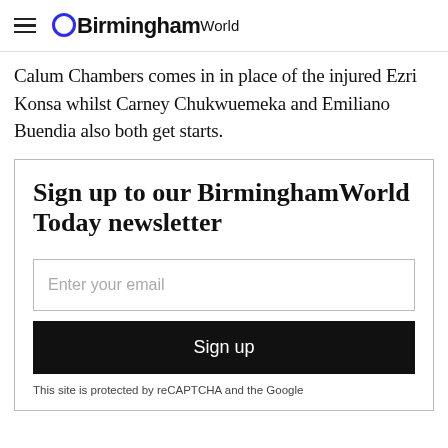BirminghamWorld
Calum Chambers comes in in place of the injured Ezri Konsa whilst Carney Chukwuemeka and Emiliano Buendia also both get starts.
Sign up to our BirminghamWorld Today newsletter
Enter your email
Sign up
This site is protected by reCAPTCHA and the Google